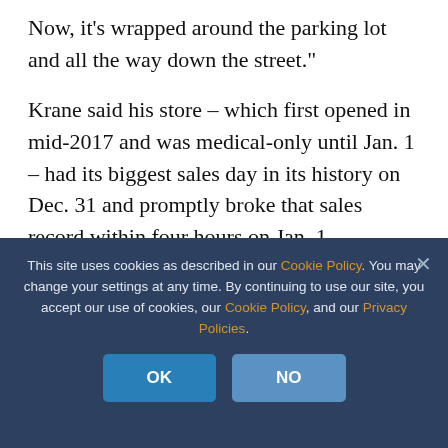Now, it’s wrapped around the parking lot and all the way down the street.”
Krane said his store – which first opened in mid-2017 and was medical-only until Jan. 1 – had its biggest sales day in its history on Dec. 31 and promptly broke that sales record within four hours on Jan. 1.
[Figure (photo): Partial view of an orange-background in-store photo with a person visible at the bottom]
“Ye
This site uses cookies as described in our Cookie Policy. You may change your settings at any time. By continuing to use our site, you accept our use of cookies, our Cookie Policy, and our Privacy Policies.
OK
NO